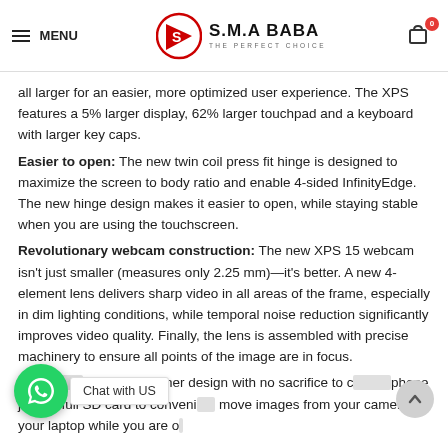MENU | S.M.A BABA THE PERFECT CHOICE | Cart 0
all larger for an easier, more optimized user experience. The XPS features a 5% larger display, 62% larger touchpad and a keyboard with larger key caps.
Easier to open: The new twin coil press fit hinge is designed to maximize the screen to body ratio and enable 4-sided InfinityEdge. The new hinge design makes it easier to open, while staying stable when you are using the touchscreen.
Revolutionary webcam construction: The new XPS 15 webcam isn't just smaller (measures only 2.25 mm)—it's better. A new 4-element lens delivers sharp video in all areas of the frame, especially in dim lighting conditions, while temporal noise reduction significantly improves video quality. Finally, the lens is assembled with precise machinery to ensure all points of the image are in focus.
Sa... es an 8% thinner design with no sacrifice to co... phone jack or full SD card to conveni... move images from your camera to your laptop while you are o...
[Figure (logo): S.M.A BABA logo with red triangular icon and tagline THE PERFECT CHOICE]
[Figure (infographic): WhatsApp Chat with US button overlay and scroll-to-top arrow button]